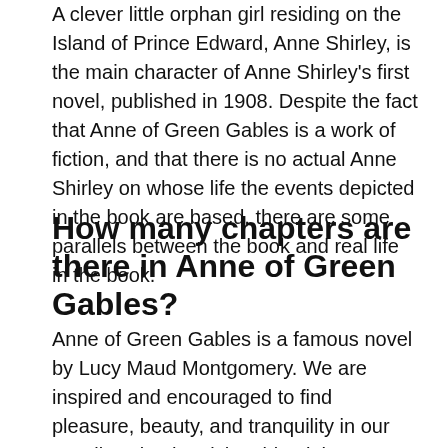A clever little orphan girl residing on the Island of Prince Edward, Anne Shirley, is the main character of Anne Shirley's first novel, published in 1908. Despite the fact that Anne of Green Gables is a work of fiction, and that there is no actual Anne Shirley on whose life the events depicted in the book are based, there are some parallels between the book and real life in the book.
How many chapters are there in Anne of Green Gables?
Anne of Green Gables is a famous novel by Lucy Maud Montgomery. We are inspired and encouraged to find pleasure, beauty, and tranquility in our own lives by the ‘rich spiritual themes and truths’ contained in each of the thirty-eight chapters of this